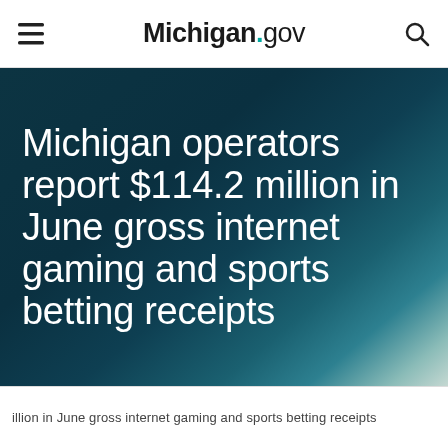Michigan.gov
Michigan operators report $114.2 million in June gross internet gaming and sports betting receipts
illion in June gross internet gaming and sports betting receipts